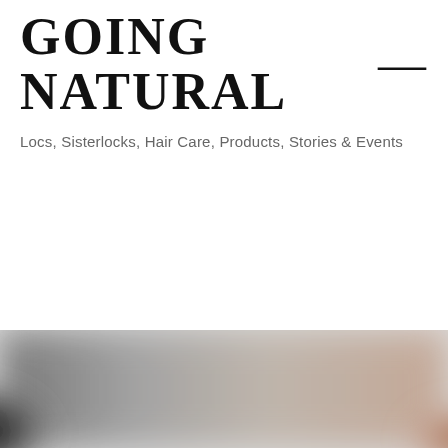GOING NATURAL —
Locs, Sisterlocks, Hair Care, Products, Stories & Events
[Figure (photo): Blurred bottom banner image showing dark black on the left fading to a warm brown/skin tone on the right, appearing to be a close-up photograph of natural hair or skin.]